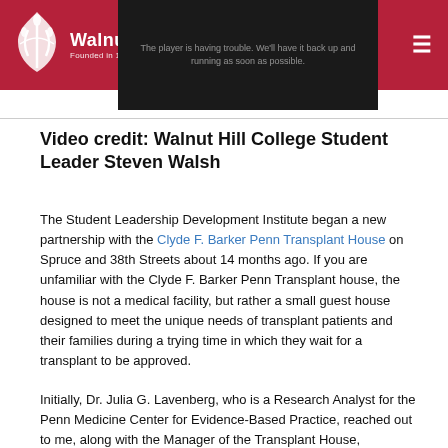Walnut Hill College — Founded in 1974 as The Restaurant School
[Figure (screenshot): Video player showing error message: The player is having trouble. We'll have it back up and running as soon as possible. Dark background.]
Video credit: Walnut Hill College Student Leader Steven Walsh
The Student Leadership Development Institute began a new partnership with the Clyde F. Barker Penn Transplant House on Spruce and 38th Streets about 14 months ago. If you are unfamiliar with the Clyde F. Barker Penn Transplant house, the house is not a medical facility, but rather a small guest house designed to meet the unique needs of transplant patients and their families during a trying time in which they wait for a transplant to be approved.
Initially, Dr. Julia G. Lavenberg, who is a Research Analyst for the Penn Medicine Center for Evidence-Based Practice, reached out to me, along with the Manager of the Transplant House,